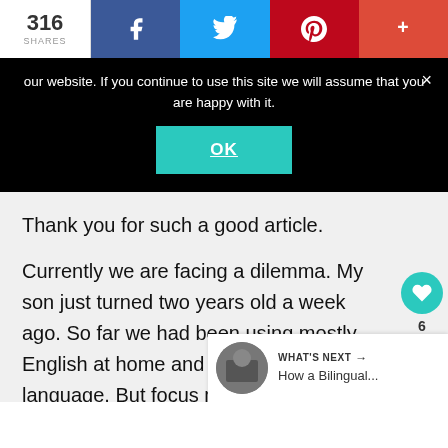316 SHARES | Facebook | Twitter | Pinterest | +
our website. If you continue to use this site we will assume that you are happy with it.
OK
Thank you for such a good article.
Currently we are facing a dilemma. My son just turned two years old a week ago. So far we had been using mostly English at home and a bit of our native language. But focus mainly has been English. It's because we live in Melbourne and both I and my wife
WHAT'S NEXT → How a Bilingual...